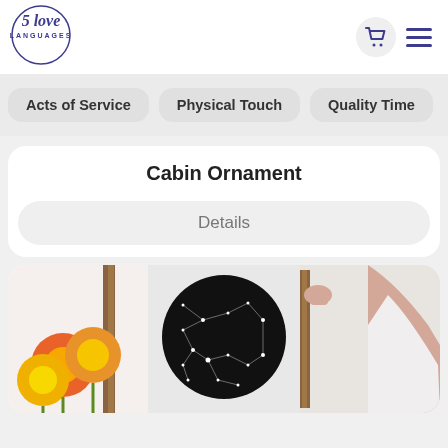[Figure (logo): 5 Love Languages logo — circular script/serif text in dark purple]
5 love LANGUAGES
Acts of Service
Physical Touch
Quality Time
Cabin Ornament
Details
[Figure (photo): Three product photos side by side: orange gerbera daisies in front of a wooden-framed art print; a circular black star map print; a person in a white dress holding a wooden-framed print against a wall]